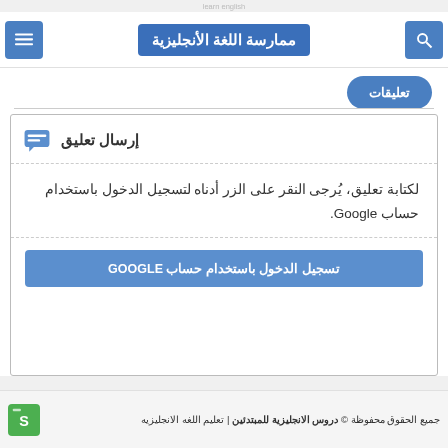ممارسة اللغة الأنجليزية
تعليقات
إرسال تعليق
لكتابة تعليق، يُرجى النقر على الزر أدناه لتسجيل الدخول باستخدام حساب Google.
تسجيل الدخول باستخدام حساب GOOGLE
جميع الحقوق محفوظة © دروس الانجليزية للمبتدئين | تعليم اللغه الانجليزيه